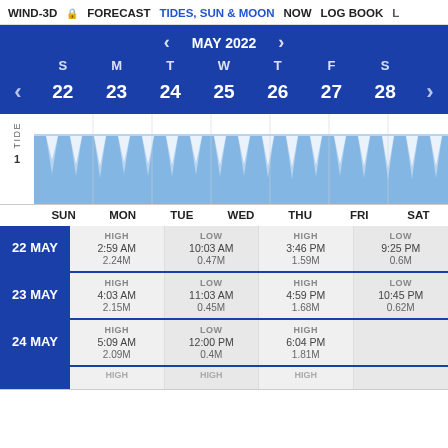WIND-3D | FORECAST | TIDES, SUN & MOON | NOW | LOG BOOK
[Figure (other): Monthly calendar showing MAY 2022, week of May 22-28. Days S M T W T F S with dates 22 23 24 25 26 27 28. Left and right navigation arrows.]
[Figure (continuous-plot): Tide chart showing oscillating wave pattern across the week (SUN through SAT), with blue area fill and white triangular dips representing low tides. Y-axis label: TIDE, value 1 marked.]
| DATE | HIGH | LOW | HIGH | LOW |
| --- | --- | --- | --- | --- |
| 22 MAY | HIGH
2:59 AM
2.24M | LOW
10:03 AM
0.47M | HIGH
3:46 PM
1.59M | LOW
9:25 PM
0.6M |
| 23 MAY | HIGH
4:03 AM
2.15M | LOW
11:03 AM
0.45M | HIGH
4:59 PM
1.68M | LOW
10:45 PM
0.62M |
| 24 MAY | HIGH
5:09 AM
2.09M | LOW
12:00 PM
0.4M | HIGH
6:04 PM
1.81M |  |